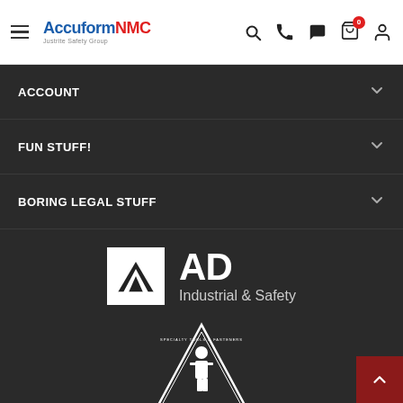[Figure (logo): AccuformNMC logo with hamburger menu and navigation icons including search, phone, chat, cart (badge 0), and user account]
ACCOUNT
FUN STUFF!
BORING LEGAL STUFF
[Figure (logo): AD Industrial & Safety logo — white square with mountain/triangle icon and AD text, Industrial & Safety subtitle]
[Figure (logo): STAFDA logo — triangular badge with figure illustration and STAFDA text at bottom]